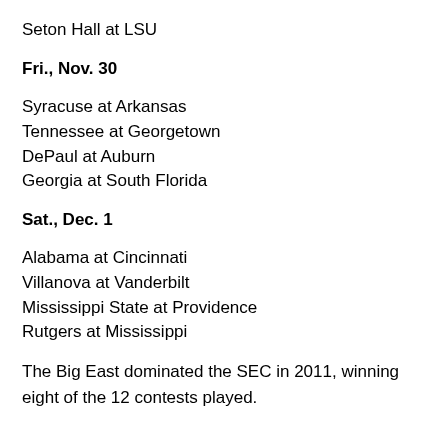Seton Hall at LSU
Fri., Nov. 30
Syracuse at Arkansas
Tennessee at Georgetown
DePaul at Auburn
Georgia at South Florida
Sat., Dec. 1
Alabama at Cincinnati
Villanova at Vanderbilt
Mississippi State at Providence
Rutgers at Mississippi
The Big East dominated the SEC in 2011, winning eight of the 12 contests played.